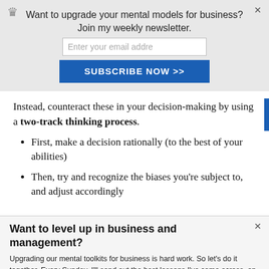[Figure (screenshot): Newsletter signup banner with crown icon, headline 'Want to upgrade your mental models for business? Join my weekly newsletter.', email input field, and blue SUBSCRIBE NOW >> button]
Instead, counteract these in your decision-making by using a two-track thinking process.
First, make a decision rationally (to the best of your abilities)
Then, try and recognize the biases you're subject to, and adjust accordingly
Want to level up in business and management?
Upgrading our mental toolkits for business is hard work. So let's do it together. Every Sunday, I'll send out the best lessons I've come across, on business, strategy and startups. Join me, and level up every week.